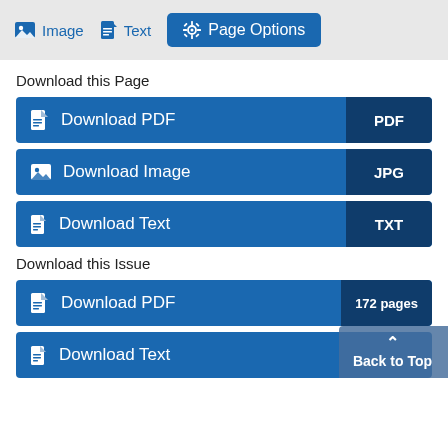Image   Text   Page Options
Download this Page
Download PDF  PDF
Download Image  JPG
Download Text  TXT
Download this Issue
Download PDF  172 pages
Download Text
Back to Top